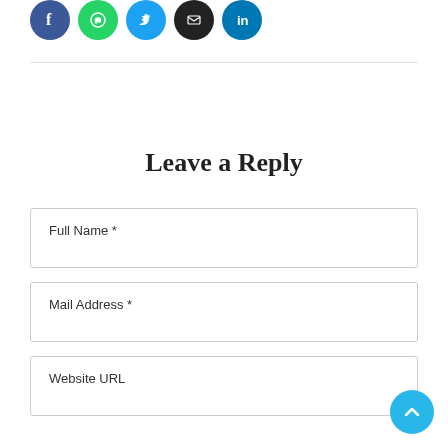[Figure (illustration): Row of five social media icon circles: Facebook (blue), WhatsApp (green), Twitter (light blue), YouTube (black), LinkedIn (blue)]
Leave a Reply
Full Name *
Mail Address *
Website URL